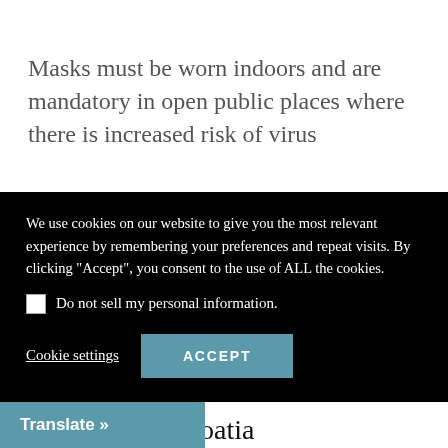Masks must be worn indoors and are mandatory in open public places where there is increased risk of virus
[Figure (screenshot): Cookie consent popup overlay with black background. Contains text about cookie usage, a checkbox for 'Do not sell my personal information', a 'Cookie settings' link, and an 'ACCEPT' button in teal.]
IMPORTANT: Please check COVID-19 boarding requirements with your airline(s) and airport(s) of transit when planning travel to Croatia! They may differ from Croatia entry requirements.
[Figure (screenshot): Translate button in teal color at the bottom left of the page.]